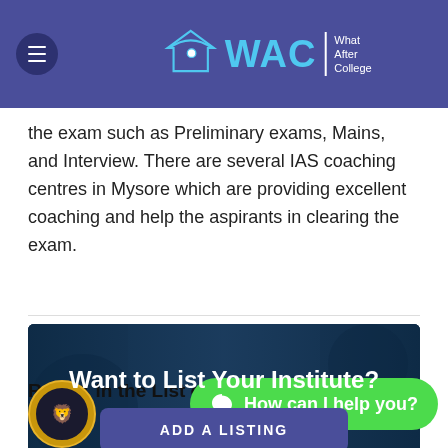WAC | What After College
the exam such as Preliminary exams, Mains, and Interview. There are several IAS coaching centres in Mysore which are providing excellent coaching and help the aspirants in clearing the exam.
[Figure (infographic): Banner with dark blue/teal background photo, heading 'Want to List Your Institute?' and a button 'ADD A LISTING']
Rank 1 in the List of To...
[Figure (illustration): Gold and black circular medal/badge logo at bottom left]
How can I help you?